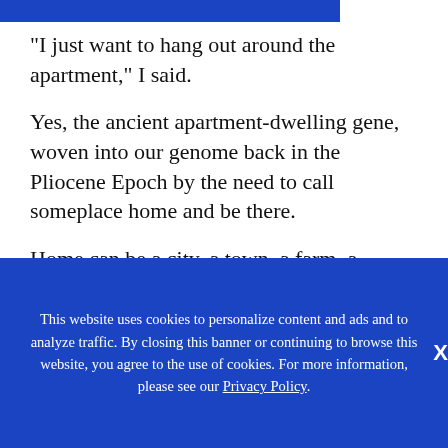[Figure (other): Blue horizontal bar at top of page]
“I just want to hang out around the apartment,” I said.
Yes, the ancient apartment-dwelling gene, woven into our genome back in the Pliocene Epoch by the need to call someplace home and be there.
Home can be a city, a town, a farm, a trailer. It can be a fifth-floor walkup or a ten-bedroom mansion. For most of us it’s something in between, a place
This website uses cookies to personalize content and ads and to analyze traffic. By closing this banner or continuing to browse this website, you agree to the use of cookies. For more information, please see our Privacy Policy.